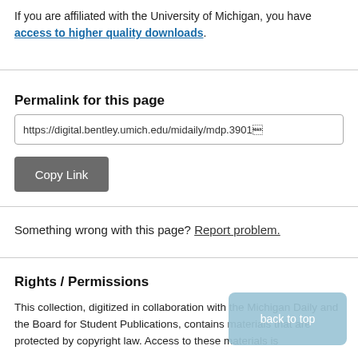If you are affiliated with the University of Michigan, you have access to higher quality downloads.
Permalink for this page
https://digital.bentley.umich.edu/midaily/mdp.3901...
Copy Link
Something wrong with this page? Report problem.
Rights / Permissions
This collection, digitized in collaboration with the Michigan Daily and the Board for Student Publications, contains materials that are protected by copyright law. Access to these materials is